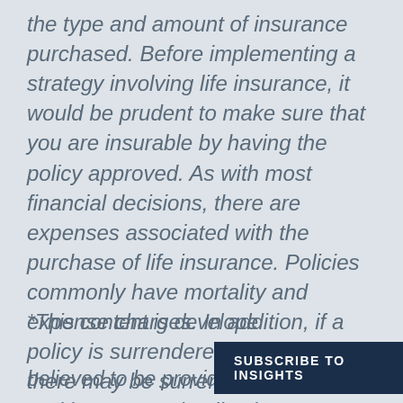the type and amount of insurance purchased. Before implementing a strategy involving life insurance, it would be prudent to make sure that you are insurable by having the policy approved. As with most financial decisions, there are expenses associated with the purchase of life insurance. Policies commonly have mortality and expense charges. In addition, if a policy is surrendered prematurely, there may be surrender charges and income tax implications.
*This content is developed... believed to be providing .